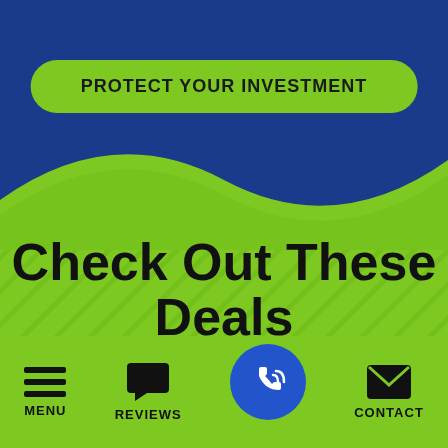[Figure (infographic): Blue and green website screenshot with shield logo at top, green 'PROTECT YOUR INVESTMENT' button, 'Check Out These Deals' heading, a dashed-border deal card with megaphone icon showing 'The Low Price Guarantee or we pay you $500', and bottom navigation bar with MENU, REVIEWS, phone call button, and CONTACT icons]
PROTECT YOUR INVESTMENT
Check Out These Deals
The Low Price Guarantee or we pay you $500 VIEW DETAILS
MENU  REVIEWS  CONTACT